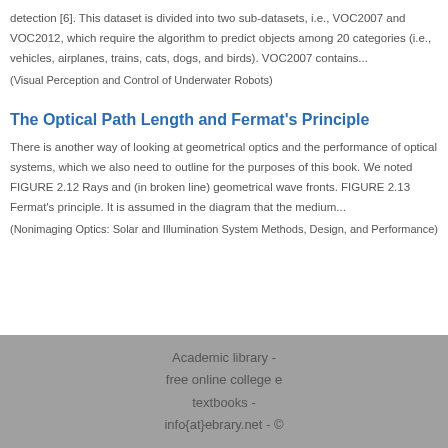detection [6]. This dataset is divided into two sub-datasets, i.e., VOC2007 and VOC2012, which require the algorithm to predict objects among 20 categories (i.e., vehicles, airplanes, trains, cats, dogs, and birds). VOC2007 contains...
(Visual Perception and Control of Underwater Robots)
The Optical Path Length and Fermat's Principle
There is another way of looking at geometrical optics and the performance of optical systems, which we also need to outline for the purposes of this book. We noted FIGURE 2.12 Rays and (in broken line) geometrical wave fronts. FIGURE 2.13 Fermat's principle. It is assumed in the diagram that the medium...
(Nonimaging Optics: Solar and Illumination System Methods, Design, and Performance)
Academic library - free online college e textbooks - info{at}ebrary.net - ©